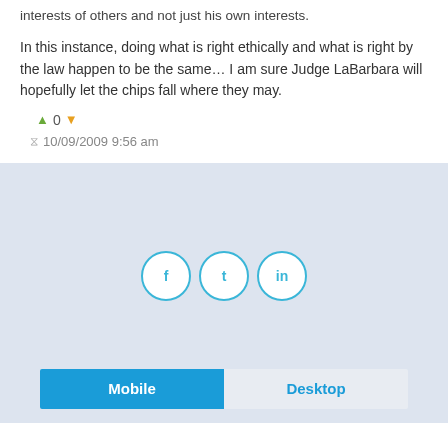interests of others and not just his own interests.
In this instance, doing what is right ethically and what is right by the law happen to be the same… I am sure Judge LaBarbara will hopefully let the chips fall where they may.
0
10/09/2009 9:56 am
[Figure (other): Three circular social sharing buttons with cyan/teal border on light blue-gray background]
↑ Back to top
Mobile   Desktop